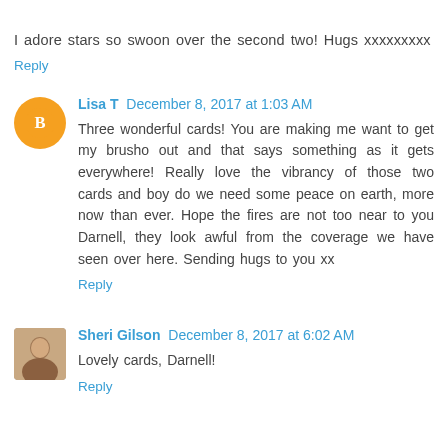I adore stars so swoon over the second two! Hugs xxxxxxxxx
Reply
Lisa T   December 8, 2017 at 1:03 AM
Three wonderful cards! You are making me want to get my brusho out and that says something as it gets everywhere! Really love the vibrancy of those two cards and boy do we need some peace on earth, more now than ever. Hope the fires are not too near to you Darnell, they look awful from the coverage we have seen over here. Sending hugs to you xx
Reply
Sheri Gilson   December 8, 2017 at 6:02 AM
Lovely cards, Darnell!
Reply